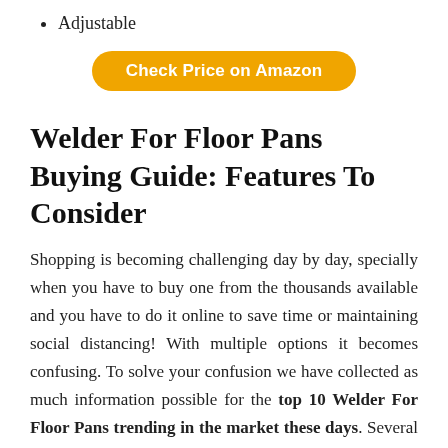Adjustable
[Figure (other): Orange rounded button labeled 'Check Price on Amazon']
Welder For Floor Pans Buying Guide: Features To Consider
Shopping is becoming challenging day by day, specially when you have to buy one from the thousands available and you have to do it online to save time or maintaining social distancing! With multiple options it becomes confusing. To solve your confusion we have collected as much information possible for the top 10 Welder For Floor Pans trending in the market these days. Several questions regarding this product may have aroused in your mind when choosing this product; these include: